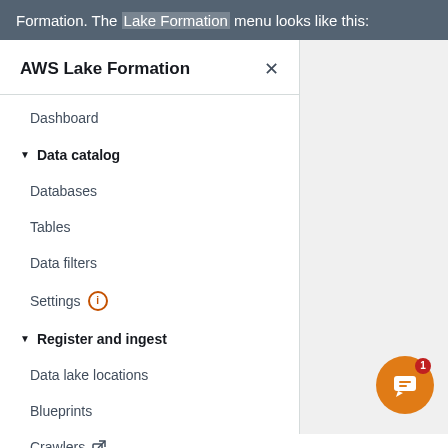Formation. The Lake Formation menu looks like this:
[Figure (screenshot): AWS Lake Formation navigation sidebar menu showing: title 'AWS Lake Formation' with close button X, then menu items: Dashboard, Data catalog (expanded section header with arrow), Databases, Tables, Data filters, Settings (with info icon), Register and ingest (expanded section header with arrow), Data lake locations, Blueprints, Crawlers (with external link icon). There is also an orange chat button with a red badge showing '1' in the bottom right corner.]